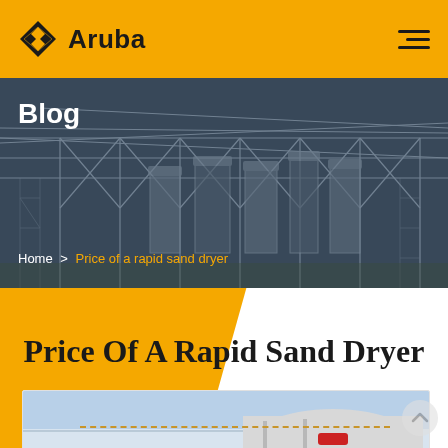Aruba
Blog
Home > Price of a rapid sand dryer
Price Of A Rapid Sand Dryer
[Figure (photo): Partial view of industrial sand dryer equipment against a light blue sky]